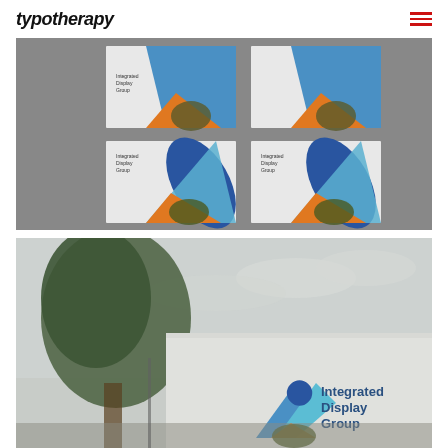typotherapy
[Figure (photo): Brand identity mockup cards for Integrated Display Group on grey background, showing 4 cards with geometric blue, orange and dark blue design elements]
[Figure (photo): Exterior wall of a building with large Integrated Display Group logo and branding featuring blue geometric chevron/arrow shapes, photographed with a tree in the foreground and cloudy sky]